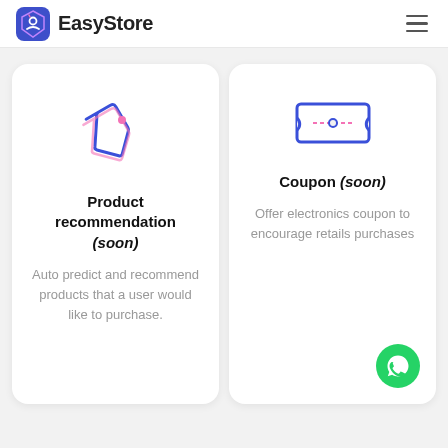EasyStore
[Figure (illustration): Price tag icon in blue/pink outline style]
Product recommendation (soon)
Auto predict and recommend products that a user would like to purchase.
[Figure (illustration): Coupon/ticket icon in blue outline style]
Coupon (soon)
Offer electronics coupon to encourage retails purchases
[Figure (logo): WhatsApp green circular button]